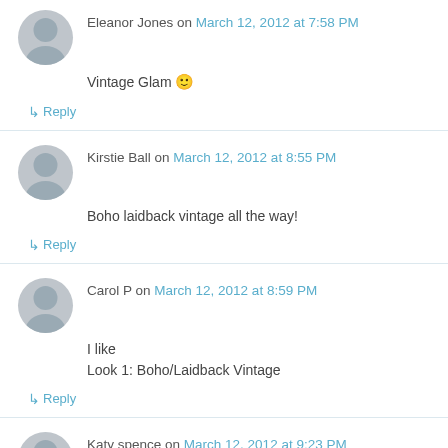Eleanor Jones on March 12, 2012 at 7:58 PM
Vintage Glam 🙂
↳ Reply
Kirstie Ball on March 12, 2012 at 8:55 PM
Boho laidback vintage all the way!
↳ Reply
Carol P on March 12, 2012 at 8:59 PM
I like
Look 1: Boho/Laidback Vintage
↳ Reply
Katy spence on March 12, 2012 at 9:23 PM
Look 2 Vintage Glam
↳ Reply